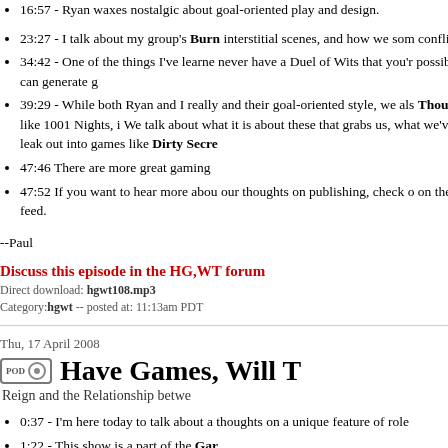16:57 - Ryan waxes nostalgic about goal-oriented play and design.
23:27 - I talk about my group's Burning Wheel campaign, interstitial scenes, and how we sometimes generate conflict.
34:42 - One of the things I've learned is that you should never have a Duel of Wits that you're not invested in. The possibility, however, can generate great tension.
39:29 - While both Ryan and I really like Burning Wheel and their goal-oriented style, we also talk about 1001 Nights Thoughts, which like 1001 Nights, is a great story game. We talk about what it is about these kinds of games that grabs us, what we've learned about it, and how it can leak out into games like Dirty Secrets.
47:46 There are more great gaming thoughts to come.
47:52 If you want to hear more about our thoughts on publishing, check out on the Master Plan feed.
--Paul
Discuss this episode in the HG,WT forum
Direct download: hgwt108.mp3
Category:hgwt -- posted at: 11:13am PDT
Thu, 17 April 2008
Have Games, Will T
Reign and the Relationship betwe
0:37 - I'm here today to talk about a thoughts on a unique feature of role
1:22 - This show is a part of the Gar
1:28 - Reign, by Greg Stolze, is a C extraordinarily fantastical world. I ha campaign of it, and I wanted to shar
19:37 - Have Games, Will Travel is